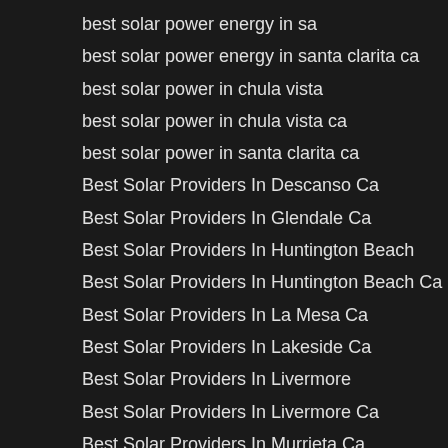best solar power energy in sa
best solar power energy in santa clarita ca
best solar power in chula vista
best solar power in chula vista ca
best solar power in santa clarita ca
Best Solar Providers In Descanso Ca
Best Solar Providers In Glendale Ca
Best Solar Providers In Huntington Beach
Best Solar Providers In Huntington Beach Ca
Best Solar Providers In La Mesa Ca
Best Solar Providers In Lakeside Ca
Best Solar Providers In Livermore
Best Solar Providers In Livermore Ca
Best Solar Providers In Murrieta Ca
Best Solar Providers In Pasadena Ca
Best Solar Providers In Rancho Cucamonga
Best Solar Providers In Rancho Cucamonga Ca